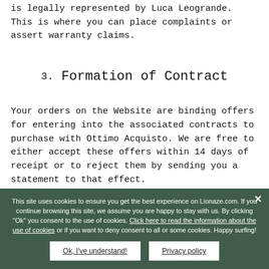is legally represented by Luca Leogrande. This is where you can place complaints or assert warranty claims.
3. Formation of Contract
Your orders on the Website are binding offers for entering into the associated contracts to purchase with Ottimo Acquisto. We are free to either accept these offers within 14 days of receipt or to reject them by sending you a statement to that effect.
This site uses cookies to ensure you get the best experience on Lionaze.com. If you continue browsing this site, we assume you are happy to stay with us. By clicking "Ok" you consent to the use of cookies. Click here to read the information about the use of cookies or if you want to deny consent to all or some cookies. Happy surfing!
Ok, I've understand!
Privacy policy